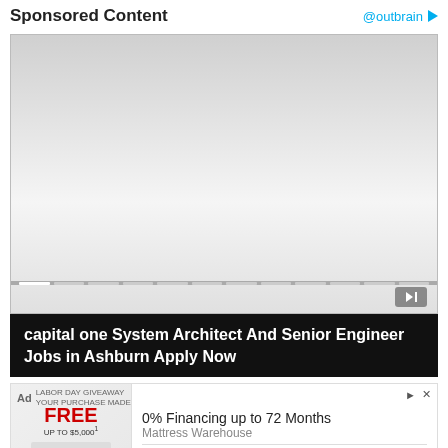Sponsored Content   @outbrain
[Figure (screenshot): Video player with gradient background (light gray to white), progress bar segments at bottom, and skip button icon in lower right]
capital one System Architect And Senior Engineer Jobs in Ashburn Apply Now
[Figure (screenshot): Ad banner: Ad label with LABOR DAY GIVEAWAY promo text, FREE UP TO $5,000 badge in red, mattress image placeholder, 0% Financing up to 72 Months, Mattress Warehouse, Shop Now button with arrow. Close and info icons top right.]